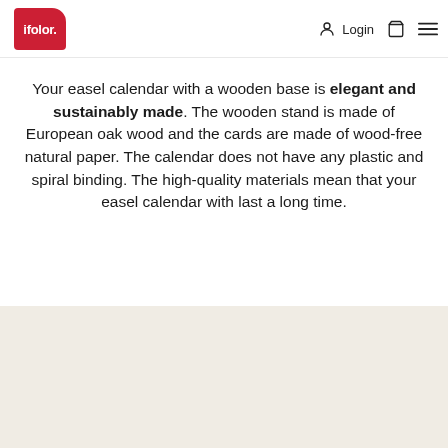ifolor. | Login
Your easel calendar with a wooden base is elegant and sustainably made. The wooden stand is made of European oak wood and the cards are made of wood-free natural paper. The calendar does not have any plastic and spiral binding. The high-quality materials mean that your easel calendar with last a long time.
[Figure (photo): Beige/tan background area, lower portion of page]